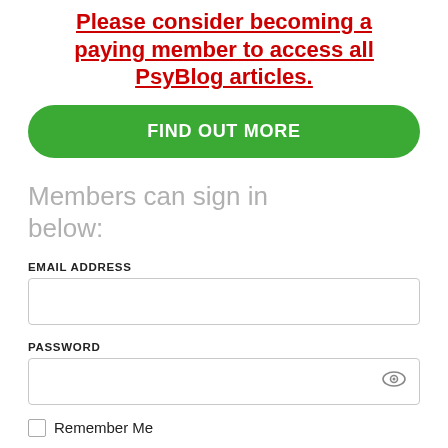Please consider becoming a paying member to access all PsyBlog articles.
FIND OUT MORE
Members can sign in below:
EMAIL ADDRESS
PASSWORD
Remember Me